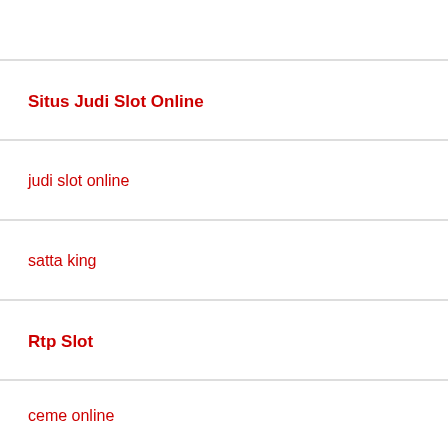Situs Judi Slot Online
judi slot online
satta king
Rtp Slot
ceme online